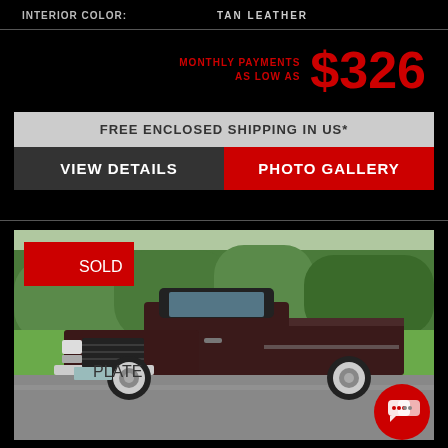INTERIOR COLOR: TAN LEATHER
MONTHLY PAYMENTS AS LOW AS $326
FREE ENCLOSED SHIPPING IN US*
VIEW DETAILS
PHOTO GALLERY
[Figure (photo): Classic vintage Chevrolet pickup truck in dark maroon/burgundy color, photographed in a parking area with green trees in background. A red SOLD badge is overlaid in the top-left corner of the image. A red chat button is in the bottom-right corner.]